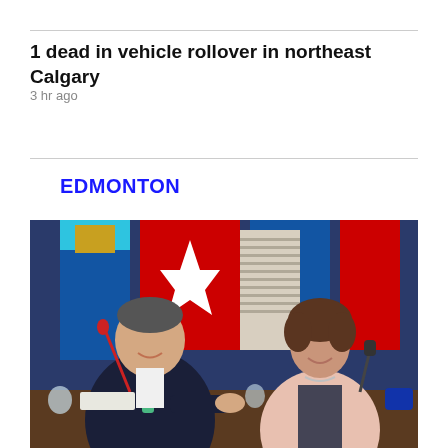1 dead in vehicle rollover in northeast Calgary
3 hr ago
EDMONTON
[Figure (photo): Two politicians (a man in a dark suit with green tie and a woman in a pink blazer) sitting at a table in front of Alberta and Canadian flags.]